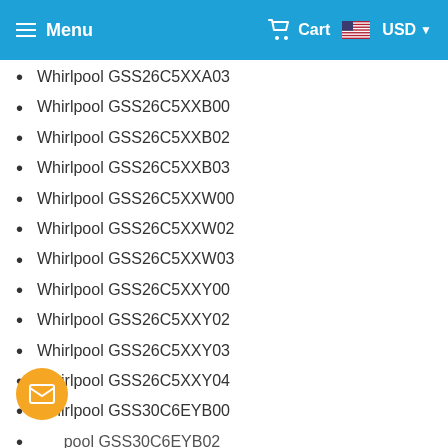Menu | Cart | USD
Whirlpool GSS26C5XXA03
Whirlpool GSS26C5XXB00
Whirlpool GSS26C5XXB02
Whirlpool GSS26C5XXB03
Whirlpool GSS26C5XXW00
Whirlpool GSS26C5XXW02
Whirlpool GSS26C5XXW03
Whirlpool GSS26C5XXY00
Whirlpool GSS26C5XXY02
Whirlpool GSS26C5XXY03
Whirlpool GSS26C5XXY04
Whirlpool GSS30C6EYB00
Whirlpool GSS30C6EYB02
Whirlpool GSS30C6EYB03